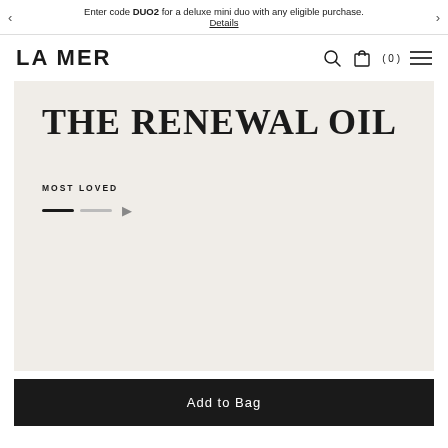Enter code DUO2 for a deluxe mini duo with any eligible purchase. Details
LA MER
THE RENEWAL OIL
MOST LOVED
Add to Bag